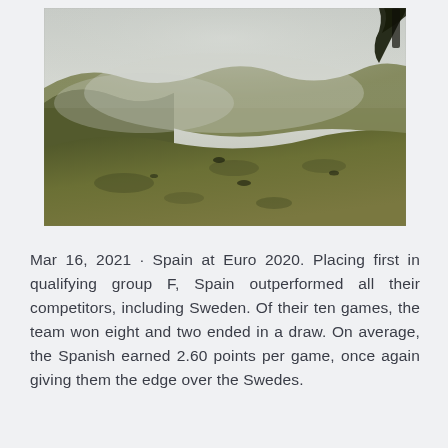[Figure (photo): Outdoor landscape photograph showing a misty green hillside with grass and rolling terrain in fog. A tree branch is visible in the upper right corner with gray cloudy sky in the background.]
Mar 16, 2021 · Spain at Euro 2020. Placing first in qualifying group F, Spain outperformed all their competitors, including Sweden. Of their ten games, the team won eight and two ended in a draw. On average, the Spanish earned 2.60 points per game, once again giving them the edge over the Swedes.